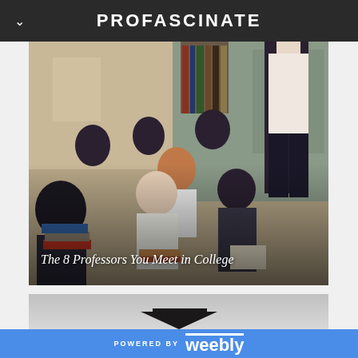PROFASCINATE
[Figure (photo): Black-and-white/sepia toned photograph of male students seated at desks in a classroom, viewed from behind, with a professor/teacher visible at the front right standing at a chalkboard. Students have stacks of books. Text overlay reads 'The 8 Professors You Meet in College'.]
The 8 Professors You Meet in College
[Figure (photo): Partial view of a second article image, showing a grey background with the top of a mortarboard/graduation cap visible at the bottom edge.]
POWERED BY weebly